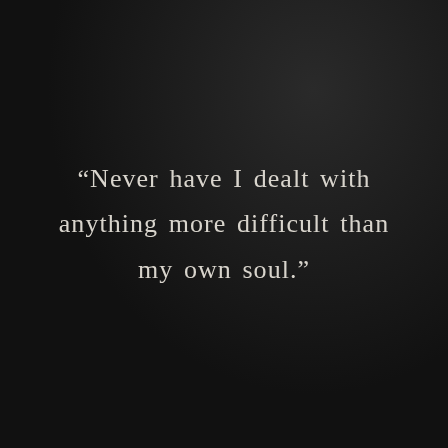“Never have I dealt with anything more difficult than my own soul.”